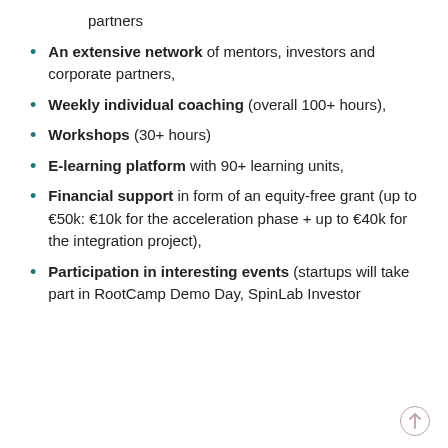partners
An extensive network of mentors, investors and corporate partners,
Weekly individual coaching (overall 100+ hours),
Workshops (30+ hours)
E-learning platform with 90+ learning units,
Financial support in form of an equity-free grant (up to €50k: €10k for the acceleration phase + up to €40k for the integration project),
Participation in interesting events (startups will take part in RootCamp Demo Day, SpinLab Investor